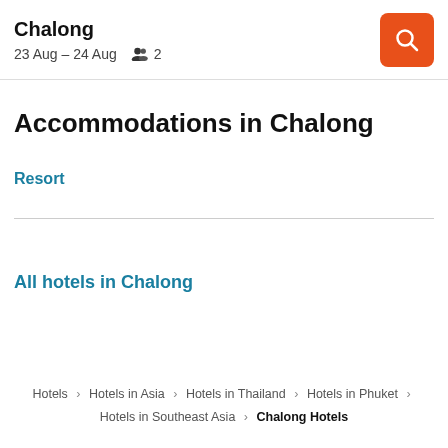Chalong
23 Aug – 24 Aug  2
Accommodations in Chalong
Resort
All hotels in Chalong
Hotels > Hotels in Asia > Hotels in Thailand > Hotels in Phuket > Hotels in Southeast Asia > Chalong Hotels